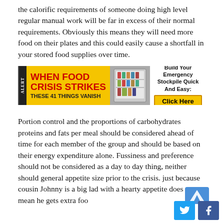the calorific requirements of someone doing high level regular manual work will be far in excess of their normal requirements. Obviously this means they will need more food on their plates and this could easily cause a shortfall in your stored food supplies over time.
[Figure (infographic): Ad banner: WHEN FOOD CRISIS STRIKES THESE 41 THINGS VANISH — Build Your Emergency Stockpile Quick And Easy: Click Here]
Portion control and the proportions of carbohydrates proteins and fats per meal should be considered ahead of time for each member of the group and should be based on their energy expenditure alone. Fussiness and preference should not be considered as a day to day thing, neither should general appetite size prior to the crisis. just because cousin Johnny is a big lad with a hearty appetite does not mean he gets extra foo